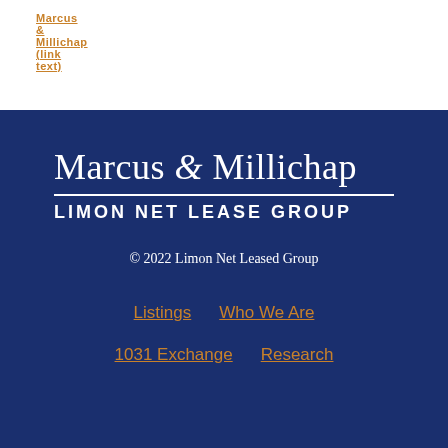Marcus & Millichap (truncated/partially visible link)
[Figure (logo): Marcus & Millichap Limon Net Lease Group logo on dark navy background]
© 2022 Limon Net Leased Group
Listings   Who We Are
1031 Exchange   Research